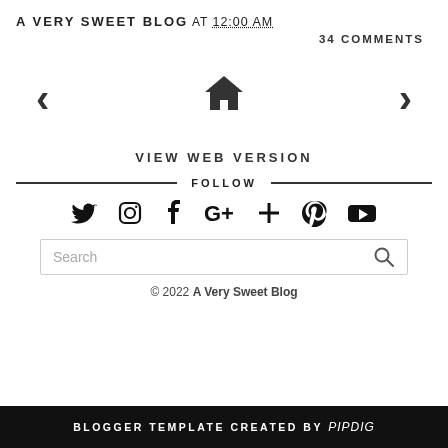A VERY SWEET BLOG AT 12:00 AM
34 COMMENTS
[Figure (infographic): Navigation row with left arrow, home icon, and right arrow]
VIEW WEB VERSION
FOLLOW
[Figure (infographic): Social media icons: Twitter, Instagram, Facebook, Google+, Blogger, Pinterest, YouTube]
Search
© 2022 A Very Sweet Blog
BLOGGER TEMPLATE CREATED BY pipdig